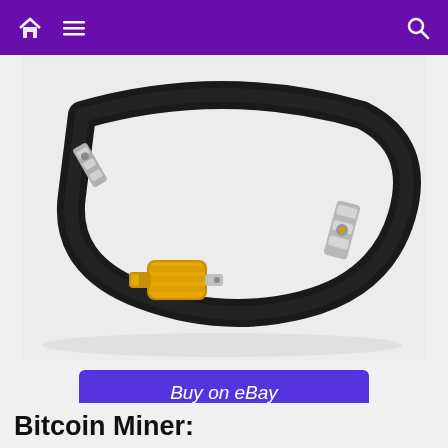Home Menu Search
[Figure (photo): Black coaxial cable with SMA connectors coiled on white background, with a gold SMA adapter connector in the foreground]
Buy on eBay
[Figure (infographic): Social share buttons: Facebook, Twitter, Pinterest]
Price: 39.99 USD
Bitcoin Miner: